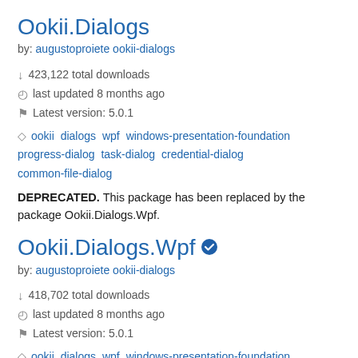Ookii.Dialogs
by: augustoproiete ookii-dialogs
↓ 423,122 total downloads
⊙ last updated 8 months ago
⚑ Latest version: 5.0.1
ookii dialogs wpf windows-presentation-foundation progress-dialog task-dialog credential-dialog common-file-dialog
DEPRECATED. This package has been replaced by the package Ookii.Dialogs.Wpf.
Ookii.Dialogs.Wpf
by: augustoproiete ookii-dialogs
↓ 418,702 total downloads
⊙ last updated 8 months ago
⚑ Latest version: 5.0.1
ookii dialogs wpf windows-presentation-foundation progress-dialog task-dialog credential-dialog common-file-dialog